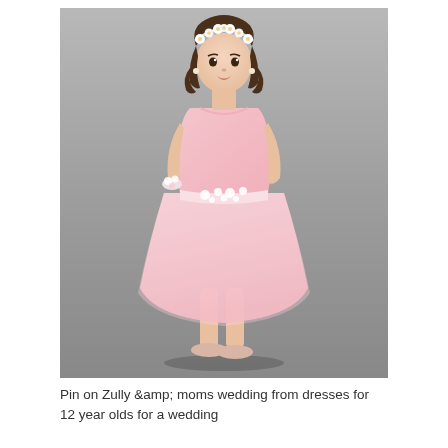[Figure (photo): A young girl wearing a pink tulle flower girl dress with floral appliqués at the waist, a floral crown, and pale pink flats. She poses against a grey background. A Chinese brand logo 'BABY-L' appears in the upper left corner of the photo.]
Pin on Zully &amp; moms wedding from dresses for 12 year olds for a wedding